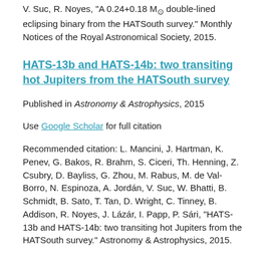V. Suc, R. Noyes, "A 0.24+0.18 M⊙ double-lined eclipsing binary from the HATSouth survey." Monthly Notices of the Royal Astronomical Society, 2015.
HATS-13b and HATS-14b: two transiting hot Jupiters from the HATSouth survey
Published in Astronomy & Astrophysics, 2015
Use Google Scholar for full citation
Recommended citation: L. Mancini, J. Hartman, K. Penev, G. Bakos, R. Brahm, S. Ciceri, Th. Henning, Z. Csubry, D. Bayliss, G. Zhou, M. Rabus, M. de Val-Borro, N. Espinoza, A. Jordán, V. Suc, W. Bhatti, B. Schmidt, B. Sato, T. Tan, D. Wright, C. Tinney, B. Addison, R. Noyes, J. Lázár, I. Papp, P. Sári, "HATS-13b and HATS-14b: two transiting hot Jupiters from the HATSouth survey." Astronomy &amp; Astrophysics, 2015.